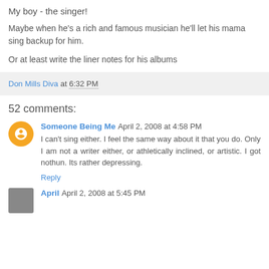My boy - the singer!
Maybe when he's a rich and famous musician he'll let his mama sing backup for him.
Or at least write the liner notes for his albums
Don Mills Diva at 6:32 PM
52 comments:
Someone Being Me  April 2, 2008 at 4:58 PM
I can't sing either. I feel the same way about it that you do. Only I am not a writer either, or athletically inclined, or artistic. I got nothun. Its rather depressing.
Reply
April  April 2, 2008 at 5:45 PM